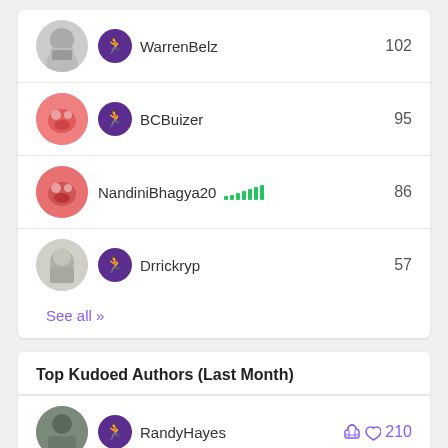WarrenBelz 102
BCBuizer 95
NandiniBhagya20 86
Drrickryp 57
See all >>
Top Kudoed Authors (Last Month)
RandyHayes 210
WarrenBelz 136